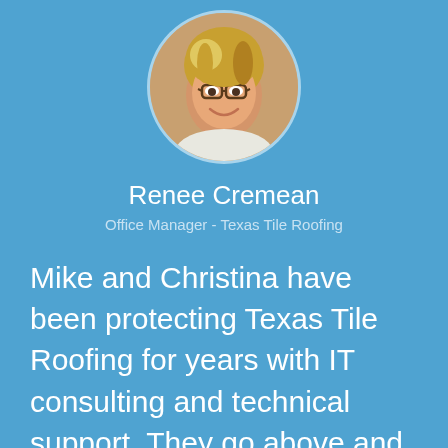[Figure (photo): Circular profile photo of a woman with short blonde hair wearing glasses, smiling, with a light blue border]
Renee Cremean
Office Manager - Texas Tile Roofing
Mike and Christina have been protecting Texas Tile Roofing for years with IT consulting and technical support. They go above and beyond every time we give